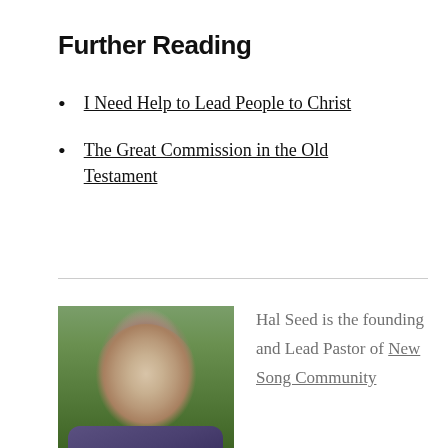Further Reading
I Need Help to Lead People to Christ
The Great Commission in the Old Testament
[Figure (photo): Portrait photo of Hal Seed, a middle-aged man with short gray hair, smiling, wearing a dark blue patterned shirt, with green foliage in the background.]
Hal Seed is the founding and Lead Pastor of New Song Community